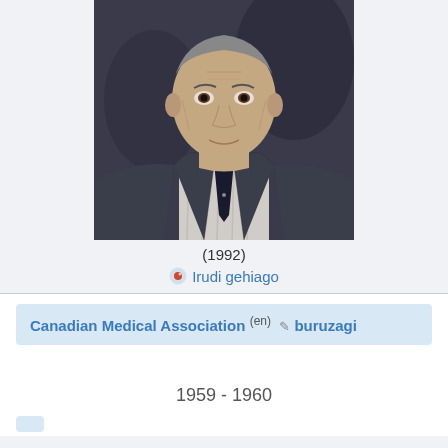[Figure (photo): Portrait photograph of a man in a dark suit and tie, formal professional headshot, year 1992]
(1992)
🔥 Irudi gehiago
Canadian Medical Association (en) ✏ buruzagi
1959 - 1960